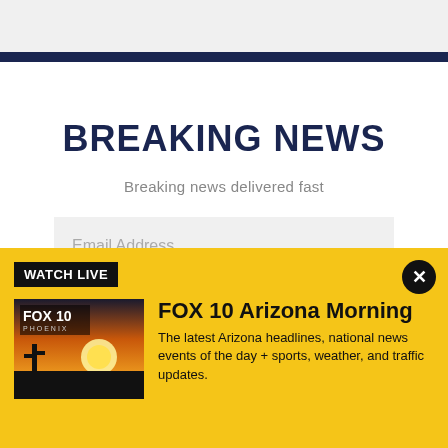BREAKING NEWS
Breaking news delivered fast
Email Address
Sign Up
WATCH LIVE
FOX 10 Arizona Morning
The latest Arizona headlines, national news events of the day + sports, weather, and traffic updates.
[Figure (screenshot): FOX 10 Phoenix sunrise/sunset thumbnail with FOX 10 PHOENIX logo overlay]